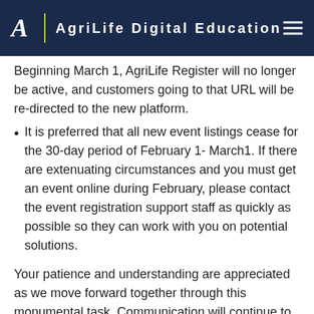AgriLife Digital Education
Beginning March 1, AgriLife Register will no longer be active, and customers going to that URL will be re-directed to the new platform.
It is preferred that all new event listings cease for the 30-day period of February 1- March1. If there are extenuating circumstances and you must get an event online during February, please contact the event registration support staff as quickly as possible so they can work with you on potential solutions.
Your patience and understanding are appreciated as we move forward together through this monumental task. Communication will continue to supply relevant updates on progress and impact on the organization. Leadership will remain persistent in the pursuit of a long-term solution that will allow